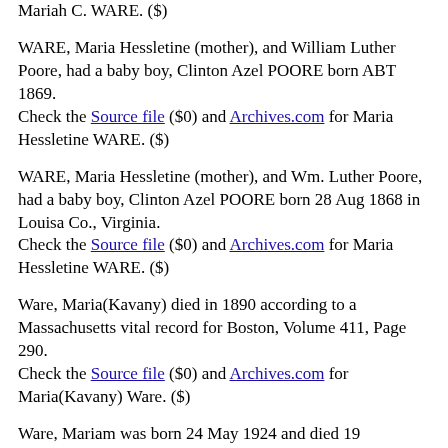Mariah C. WARE. ($)
WARE, Maria Hessletine (mother), and William Luther Poore, had a baby boy, Clinton Azel POORE born ABT 1869.
Check the Source file ($0) and Archives.com for Maria Hessletine WARE. ($)
WARE, Maria Hessletine (mother), and Wm. Luther Poore, had a baby boy, Clinton Azel POORE born 28 Aug 1868 in Louisa Co., Virginia.
Check the Source file ($0) and Archives.com for Maria Hessletine WARE. ($)
Ware, Maria(Kavany) died in 1890 according to a Massachusetts vital record for Boston, Volume 411, Page 290.
Check the Source file ($0) and Archives.com for Maria(Kavany) Ware. ($)
Ware, Mariam was born 24 May 1924 and died 19